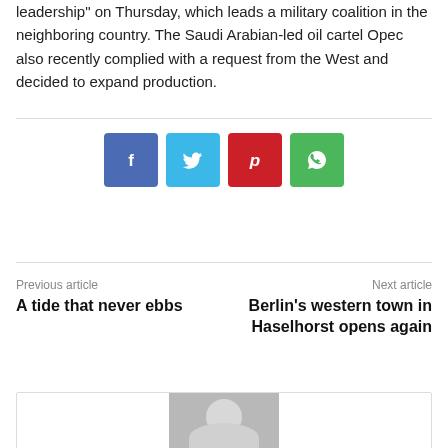leadership" on Thursday, which leads a military coalition in the neighboring country. The Saudi Arabian-led oil cartel Opec also recently complied with a request from the West and decided to expand production.
[Figure (infographic): Four social media share buttons: Facebook (blue), Twitter (light blue), Pinterest (red), WhatsApp (green)]
Previous article
A tide that never ebbs
Next article
Berlin's western town in Haselhorst opens again
[Figure (photo): Author avatar placeholder with grey silhouette of a person]